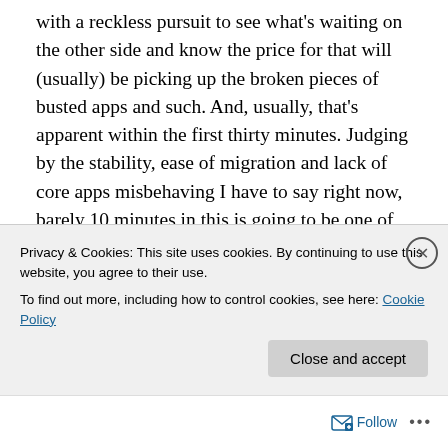with a reckless pursuit to see what's waiting on the other side and know the price for that will (usually) be picking up the broken pieces of busted apps and such. And, usually, that's apparent within the first thirty minutes. Judging by the stability, ease of migration and lack of core apps misbehaving I have to say right now, barely 10 minutes in this is going to be one of the easiest updates I've been through of all the OS X releases. It does make me wonder what Yosemite Server must be like. That hasn't happened in a long time. Which also makes me wonder about ZFS
Privacy & Cookies: This site uses cookies. By continuing to use this website, you agree to their use.
To find out more, including how to control cookies, see here: Cookie Policy
Close and accept
Follow ···